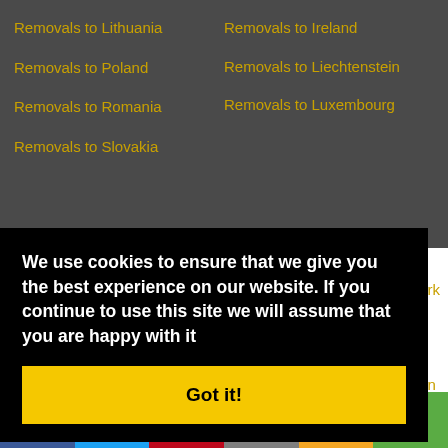Removals to Lithuania
Removals to Poland
Removals to Romania
Removals to Slovakia
Removals to Ireland
Removals to Liechtenstein
Removals to Luxembourg
We use cookies to ensure that we give you the best experience on our website. If you continue to use this site we will assume that you are happy with it
Got it!